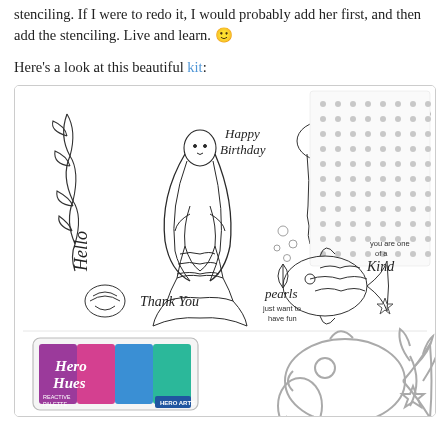stenciling. If I were to redo it, I would probably add her first, and then add the stenciling. Live and learn. 🙂
Here's a look at this beautiful kit:
[Figure (photo): Product kit photo showing: a stamp set with mermaid, jellyfish, fish, coral, seaweed, and sentiment stamps (Happy Birthday, Hello, Thank You, you are a pearl of a friend, you are one of a kind, pearls just want to have fun); a dot/circle pattern stencil sheet; a Hero Arts Hero Hues Reactive Palette ink pad with purple, pink, blue, and teal colors; and metal die cuts of a fish and coral/seaweed shapes.]